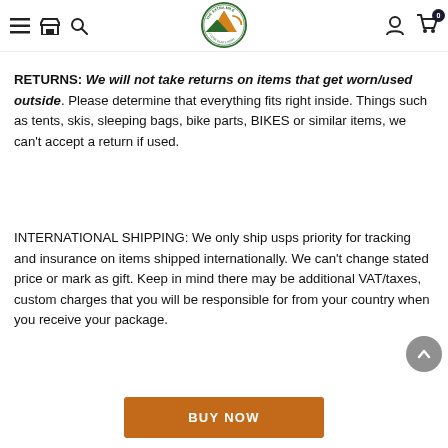[Figure (logo): The Extra Mile Outdoor Gear & More circular logo with mountain and sun graphic]
RETURNS: We will not take returns on items that get worn/used outside. Please determine that everything fits right inside. Things such as tents, skis, sleeping bags, bike parts, BIKES or similar items, we can't accept a return if used.
INTERNATIONAL SHIPPING: We only ship usps priority for tracking and insurance on items shipped internationally. We can't change stated price or mark as gift. Keep in mind there may be additional VAT/taxes, custom charges that you will be responsible for from your country when you receive your package.
BUY NOW